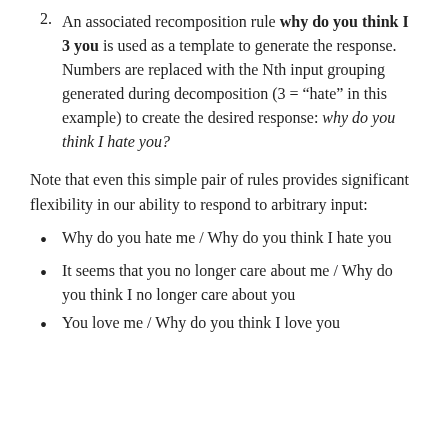2. An associated recomposition rule (why do you think I 3 you) is used as a template to generate the response. Numbers are replaced with the Nth input grouping generated during decomposition (3 = “hate” in this example) to create the desired response: why do you think I hate you?
Note that even this simple pair of rules provides significant flexibility in our ability to respond to arbitrary input:
Why do you hate me / Why do you think I hate you
It seems that you no longer care about me / Why do you think I no longer care about you
You love me / Why do you think I love you